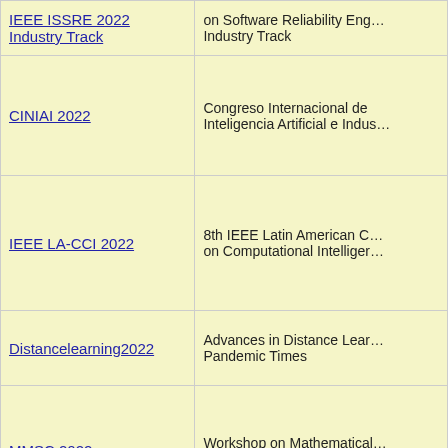| Conference | Description |
| --- | --- |
| IEEE ISSRE 2022 Industry Track | on Software Reliability Eng… Industry Track |
| CINIAI 2022 | Congreso Internacional de Inteligencia Artificial e Indus… |
| IEEE LA-CCI 2022 | 8th IEEE Latin American C… on Computational Intelliger… |
| Distancelearning2022 | Advances in Distance Lear… Pandemic Times |
| MMSC 2022 | Workshop on Mathematical… and Scientific Computing |
|  | 18e Journées Montoises… |